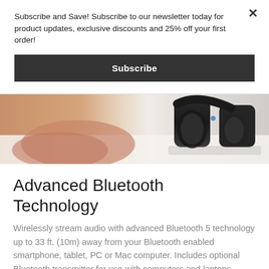Subscribe and Save! Subscribe to our newsletter today for product updates, exclusive discounts and 25% off your first order!
Subscribe
[Figure (photo): Partial view of a person's hand and a pair of black over-ear headphones resting on a white surface]
Advanced Bluetooth Technology
Wirelessly stream audio with advanced Bluetooth 5 technology up to 33 ft. (10m) away from your Bluetooth enabled smartphone, tablet, PC or Mac computer. Includes optional Bluetooth transmitter for use with computers and laptops